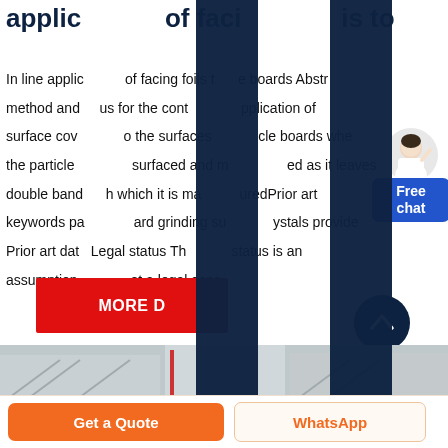applications of facing foils is to
In line applications of facing foils to the boards Abstract method and apparatus for the continuous application of surface coverings to the surfaces of particle boards where the particle is surfaced and manufactured as it leaves double banding which it is manufactured Prior art keywords particle board grinding surface crystals provided Prior art date Legal status The legal status is an assumption and is not a legal conclusion.
[Figure (photo): Industrial/factory interior image visible at bottom of content area]
[Figure (screenshot): Free chat widget with person figure and blue chat button]